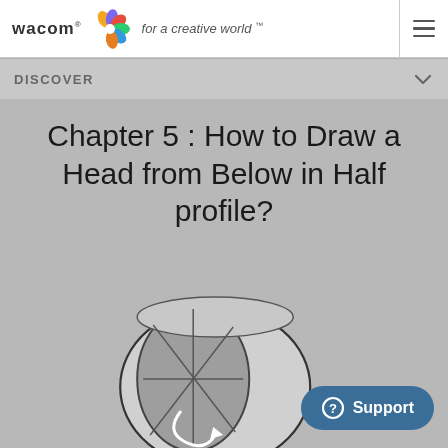wacom for a creative world™
DISCOVER
Chapter 5 : How to Draw a Head from Below in Half profile?
[Figure (illustration): 3D sphere/head shape viewed from below in half profile, with construction lines showing facial planes and a curved arrow indicating rotation. Drawn in outline style with gray shading.]
Support